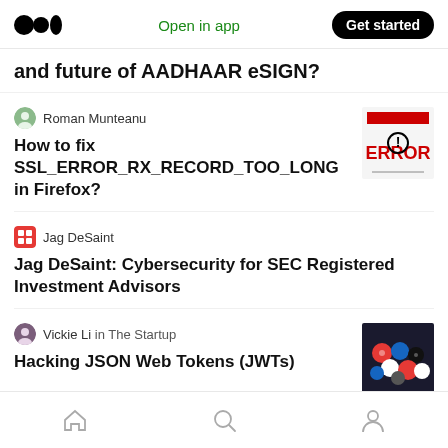Medium logo | Open in app | Get started
and future of AADHAAR eSIGN?
Roman Munteanu
How to fix SSL_ERROR_RX_RECORD_TOO_LONG in Firefox?
[Figure (illustration): ERROR graphic with red text and scattered elements]
Jag DeSaint
Jag DeSaint: Cybersecurity for SEC Registered Investment Advisors
Vickie Li in The Startup
Hacking JSON Web Tokens (JWTs)
[Figure (photo): Colorful casino poker chips]